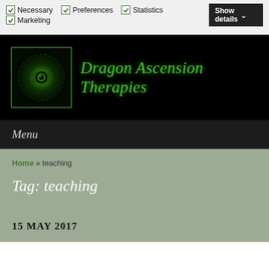Necessary  Preferences  Statistics  Marketing  Show details
[Figure (logo): Dragon Ascension Therapies logo: a dark square with green glowing eye/dragon emblem inside a green border frame]
Dragon Ascension Therapies
Menu
Home » teaching
Tag: teaching
15 MAY 2017